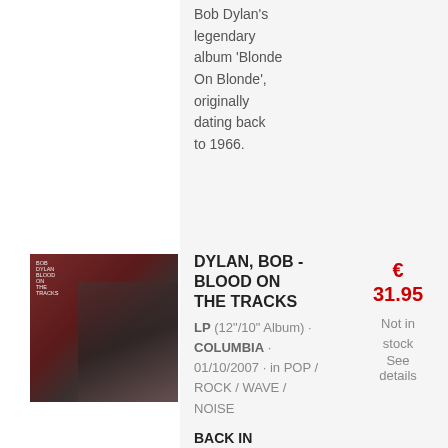Bob Dylan's legendary album 'Blonde On Blonde', originally dating back to 1966.
[Figure (photo): Album cover for Bob Dylan - Blood On The Tracks, showing a dark portrait image with red and grey tones, small text reading 'BOB DYLAN BLOOD ON THE TRACKS' on the left side]
DYLAN, BOB - BLOOD ON THE TRACKS
LP (12"/10" Album) · COLUMBIA · 01/10/2007 · in POP / ROCK / WAVE / NOISE
€ 31.95
Not in stock  See details
BACK IN PRINT! Dylan's classic 1974 album 'Blood On The Tracks',